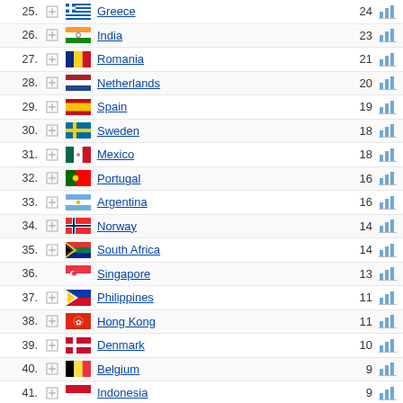| Rank |  | Flag | Country | Value | Chart |
| --- | --- | --- | --- | --- | --- |
| 25. | + | Greece flag | Greece | 24 | bar |
| 26. | + | India flag | India | 23 | bar |
| 27. | + | Romania flag | Romania | 21 | bar |
| 28. | + | Netherlands flag | Netherlands | 20 | bar |
| 29. | + | Spain flag | Spain | 19 | bar |
| 30. | + | Sweden flag | Sweden | 18 | bar |
| 31. | + | Mexico flag | Mexico | 18 | bar |
| 32. | + | Portugal flag | Portugal | 16 | bar |
| 33. | + | Argentina flag | Argentina | 16 | bar |
| 34. | + | Norway flag | Norway | 14 | bar |
| 35. | + | South Africa flag | South Africa | 14 | bar |
| 36. |  | Singapore flag | Singapore | 13 | bar |
| 37. | + | Philippines flag | Philippines | 11 | bar |
| 38. | + | Hong Kong flag | Hong Kong | 11 | bar |
| 39. | + | Denmark flag | Denmark | 10 | bar |
| 40. | + | Belgium flag | Belgium | 9 | bar |
| 41. | + | Indonesia flag | Indonesia | 9 | bar |
| 42. | + | Slovakia flag | Slovakia | 8 | bar |
| 43. | + | Australia flag | Australia | 8 | bar |
| 44. | + | Malaysia flag | Malaysia | 8 | bar |
| 45. | + | Japan flag | Japan | 8 | bar |
| 46. | + | Ecuador flag | Ecuador | 8 | bar |